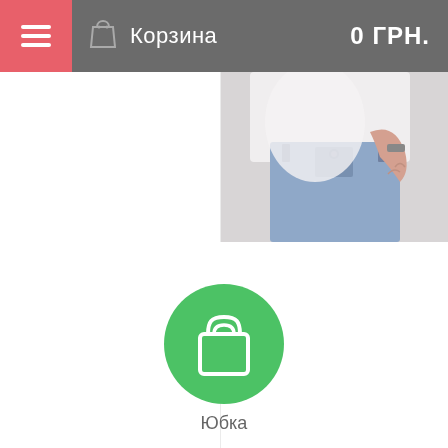Корзина   0 ГРН.
[Figure (photo): Partial photo of a person wearing white top and denim jeans/shorts, cropped to show midsection]
[Figure (illustration): Green circle with white shopping bag icon]
Юбка